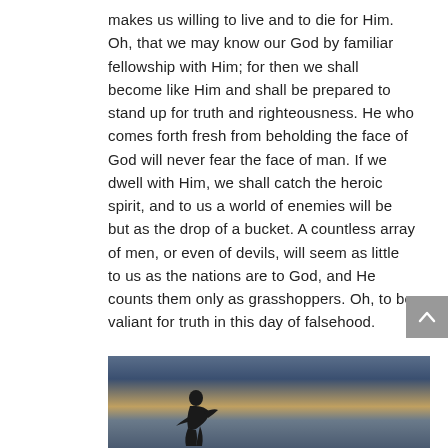makes us willing to live and to die for Him. Oh, that we may know our God by familiar fellowship with Him; for then we shall become like Him and shall be prepared to stand up for truth and righteousness. He who comes forth fresh from beholding the face of God will never fear the face of man. If we dwell with Him, we shall catch the heroic spirit, and to us a world of enemies will be but as the drop of a bucket. A countless array of men, or even of devils, will seem as little to us as the nations are to God, and He counts them only as grasshoppers. Oh, to be valiant for truth in this day of falsehood.
[Figure (photo): Silhouette of a person kneeling in prayer on a hilltop against a dramatic sky with clouds and warm sunset light]